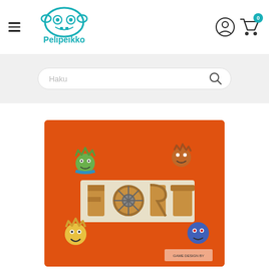[Figure (logo): Pelipeikko logo — cartoon monster face in teal with text 'Pelipeikko' below in teal]
Haku
[Figure (photo): Board game box for 'Fort' with cartoon zombie/monster characters on an orange background]